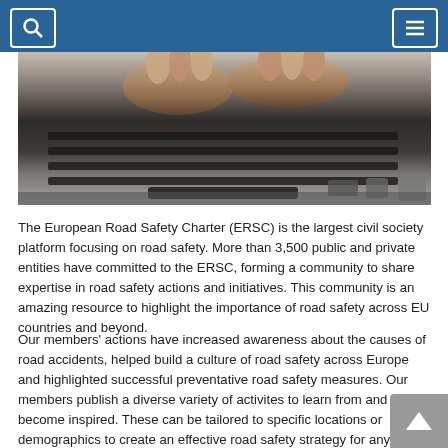[Figure (photo): Close-up photograph of hands typing on a laptop keyboard, with ports visible on the side of the laptop.]
The European Road Safety Charter (ERSC) is the largest civil society platform focusing on road safety. More than 3,500 public and private entities have committed to the ERSC, forming a community to share expertise in road safety actions and initiatives. This community is an amazing resource to highlight the importance of road safety across EU countries and beyond.
Our members' actions have increased awareness about the causes of road accidents, helped build a culture of road safety across Europe and highlighted successful preventative road safety measures. Our members publish a diverse variety of activites to learn from and become inspired. These can be tailored to specific locations or demographics to create an effective road safety strategy for any country, city or town.